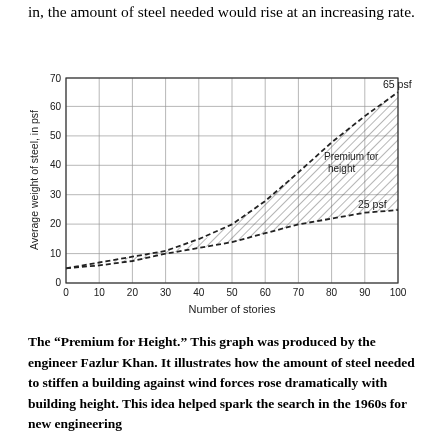in, the amount of steel needed would rise at an increasing rate.
[Figure (continuous-plot): Graph produced by engineer Fazlur Khan showing two curves bounding a hatched region labeled 'Premium for height'. The upper curve reaches 65 psf at 100 stories, and the lower curve reaches 25 psf at 100 stories. Both curves start near 5 psf at 0 stories. The hatched area between the curves represents the premium for height.]
The “Premium for Height.” This graph was produced by the engineer Fazlur Khan. It illustrates how the amount of steel needed to stiffen a building against wind forces rose dramatically with building height. This idea helped spark the search in the 1960s for new engineering